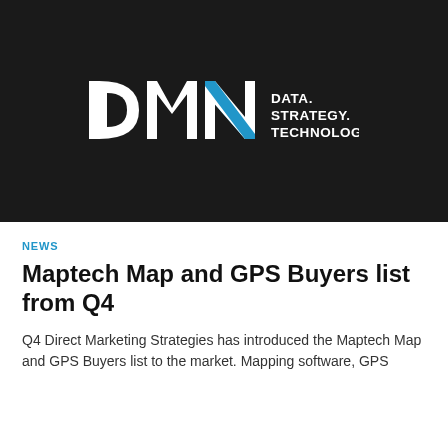[Figure (logo): DMN logo on dark background — letters D M N in white/blue with tagline DATA. STRATEGY. TECHNOLOGY. in white text to the right]
NEWS
Maptech Map and GPS Buyers list from Q4
Q4 Direct Marketing Strategies has introduced the Maptech Map and GPS Buyers list to the market. Mapping software, GPS